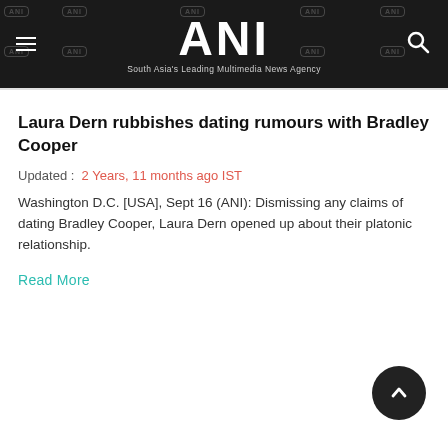ANI — South Asia's Leading Multimedia News Agency
Laura Dern rubbishes dating rumours with Bradley Cooper
Updated :  2 Years, 11 months ago IST
Washington D.C. [USA], Sept 16 (ANI): Dismissing any claims of dating Bradley Cooper, Laura Dern opened up about their platonic relationship.
Read More